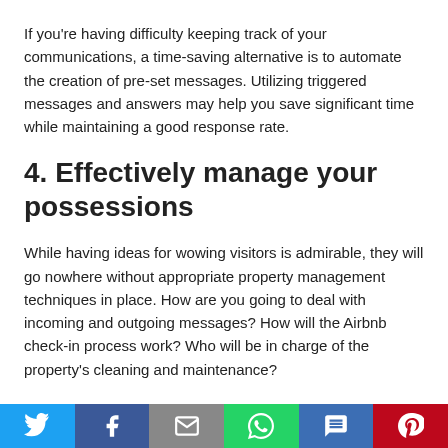If you're having difficulty keeping track of your communications, a time-saving alternative is to automate the creation of pre-set messages. Utilizing triggered messages and answers may help you save significant time while maintaining a good response rate.
4. Effectively manage your possessions
While having ideas for wowing visitors is admirable, they will go nowhere without appropriate property management techniques in place. How are you going to deal with incoming and outgoing messages? How will the Airbnb check-in process work? Who will be in charge of the property's cleaning and maintenance?
[Figure (infographic): Social media share bar with Twitter, Facebook, Email, WhatsApp, SMS, and Pinterest buttons]